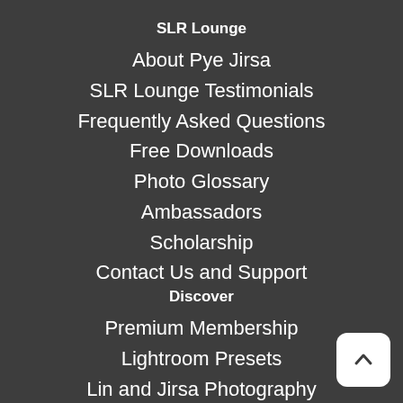SLR Lounge
About Pye Jirsa
SLR Lounge Testimonials
Frequently Asked Questions
Free Downloads
Photo Glossary
Ambassadors
Scholarship
Contact Us and Support
Discover
Premium Membership
Lightroom Presets
Lin and Jirsa Photography
Wedding Photographers